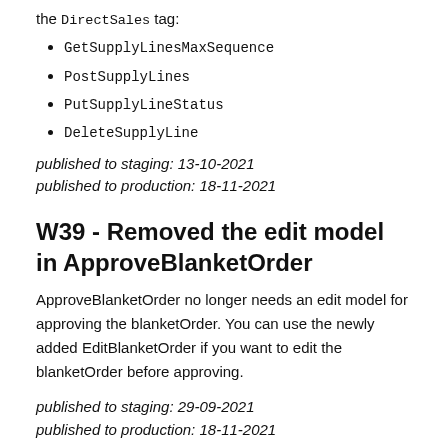the DirectSales tag:
GetSupplyLinesMaxSequence
PostSupplyLines
PutSupplyLineStatus
DeleteSupplyLine
published to staging: 13-10-2021
published to production: 18-11-2021
W39 - Removed the edit model in ApproveBlanketOrder
ApproveBlanketOrder no longer needs an edit model for approving the blanketOrder. You can use the newly added EditBlanketOrder if you want to edit the blanketOrder before approving.
published to staging: 29-09-2021
published to production: 18-11-2021